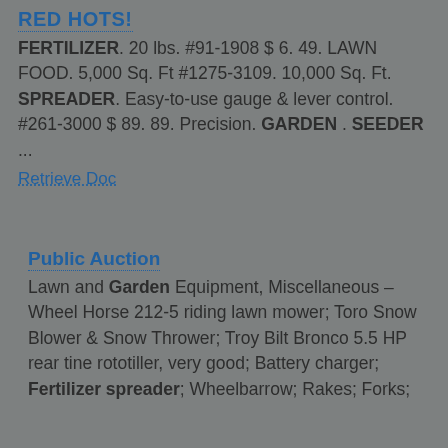RED HOTS!
FERTILIZER. 20 lbs. #91-1908 $ 6. 49. LAWN FOOD. 5,000 Sq. Ft #1275-3109. 10,000 Sq. Ft. SPREADER. Easy-to-use gauge & lever control. #261-3000 $ 89. 89. Precision. GARDEN . SEEDER ...
Retrieve Doc
Public Auction
Lawn and Garden Equipment, Miscellaneous – Wheel Horse 212-5 riding lawn mower; Toro Snow Blower & Snow Thrower; Troy Bilt Bronco 5.5 HP rear tine rototiller, very good; Battery charger; Fertilizer spreader; Wheelbarrow; Rakes; Forks;